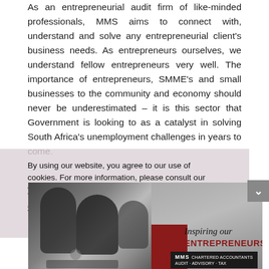As an entrepreneurial audit firm of like-minded professionals, MMS aims to connect with, understand and solve any entrepreneurial client's business needs. As entrepreneurs ourselves, we understand fellow entrepreneurs very well. The importance of entrepreneurs, SMME's and small businesses to the community and economy should never be underestimated – it is this sector that Government is looking to as a catalyst in solving South Africa's unemployment challenges in years to come.
By using our website, you agree to our use of cookies. For more information, please consult our Website Privacy Policy.
[Figure (photo): A split banner image: left side shows a black-and-white photo of business professionals in a meeting; right side has a grey/blurred background with a red stripe, italic script text 'Inspiring our' and bold red caps text 'ENTREPRENEURS', and an MMS logo badge at bottom right.]